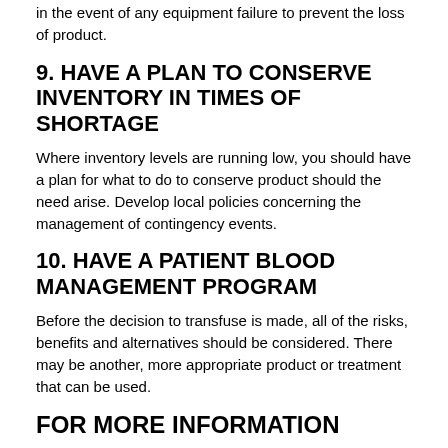in the event of any equipment failure to prevent the loss of product.
9. HAVE A PLAN TO CONSERVE INVENTORY IN TIMES OF SHORTAGE
Where inventory levels are running low, you should have a plan for what to do to conserve product should the need arise. Develop local policies concerning the management of contingency events.
10. HAVE A PATIENT BLOOD MANAGEMENT PROGRAM
Before the decision to transfuse is made, all of the risks, benefits and alternatives should be considered. There may be another, more appropriate product or treatment that can be used.
FOR MORE INFORMATION